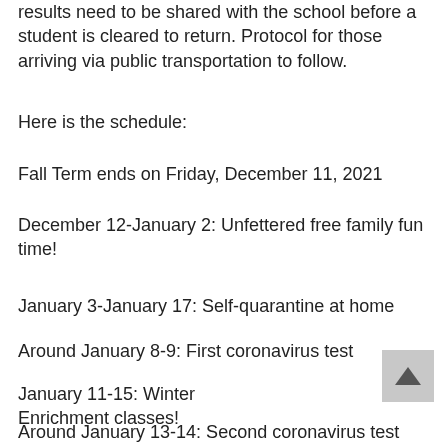results need to be shared with the school before a student is cleared to return. Protocol for those arriving via public transportation to follow.
Here is the schedule:
Fall Term ends on Friday, December 11, 2021
December 12-January 2: Unfettered free family fun time!
January 3-January 17: Self-quarantine at home
Around January 8-9: First coronavirus test
January 11-15: Winter Enrichment classes!
Around January 13-14: Second coronavirus test